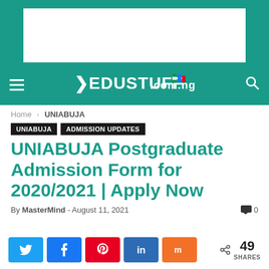[Figure (screenshot): Teal website header with ad placeholder (white rectangle), hamburger menu icon, EDUSTUFF.com.ng logo, and search icon]
Home › UNIABUJA
UNIABUJA   ADMISSION UPDATES
UNIABUJA Postgraduate Admission Form for 2020/2021 | Apply Now
By MasterMind - August 11, 2021   🗨 0
[Figure (infographic): Social share buttons: Twitter (blue), Facebook (blue), Pinterest (red), LinkedIn (dark blue), Mix (orange), with share count showing 49 SHARES]